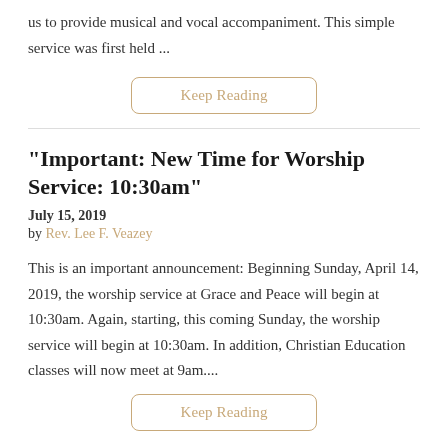us to provide musical and vocal accompaniment. This simple service was first held ...
Keep Reading
"Important: New Time for Worship Service: 10:30am"
July 15, 2019
by Rev. Lee F. Veazey
This is an important announcement: Beginning Sunday, April 14, 2019, the worship service at Grace and Peace will begin at 10:30am. Again, starting, this coming Sunday, the worship service will begin at 10:30am. In addition, Christian Education classes will now meet at 9am....
Keep Reading